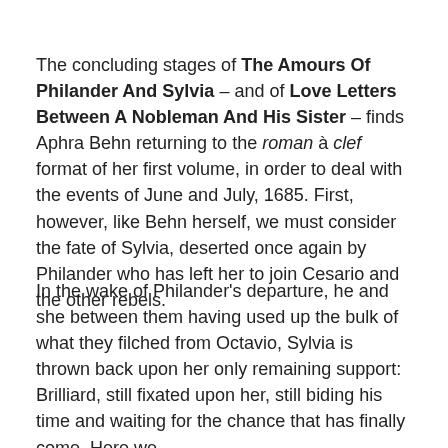The concluding stages of The Amours Of Philander And Sylvia – and of Love Letters Between A Nobleman And His Sister – finds Aphra Behn returning to the roman à clef format of her first volume, in order to deal with the events of June and July, 1685. First, however, like Behn herself, we must consider the fate of Sylvia, deserted once again by Philander who has left her to join Cesario and the other rebels.
In the wake of Philander's departure, he and she between them having used up the bulk of what they filched from Octavio, Sylvia is thrown back upon her only remaining support: Brilliard, still fixated upon her, still biding his time and waiting for the chance that has finally come. Here we